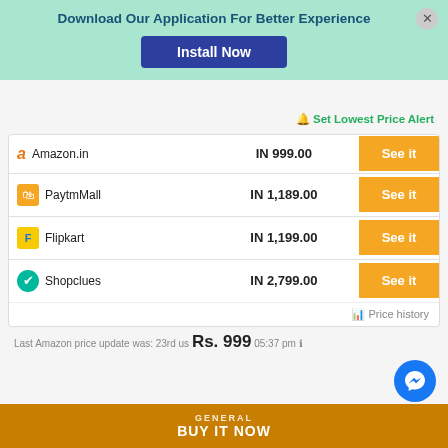Download Our Application For Better Experience
Install Now
Set Lowest Price Alert
| Store | Price | Action |
| --- | --- | --- |
| Amazon.in | IN 999.00 | See it |
| PaytmMall | IN 1,189.00 | See it |
| Flipkart | IN 1,199.00 | See it |
| Shopclues | IN 2,799.00 | See it |
Price history
Last Amazon price update was: 23rd us 05:37 pm
Rs. 999
GENERAL
BUY IT NOW